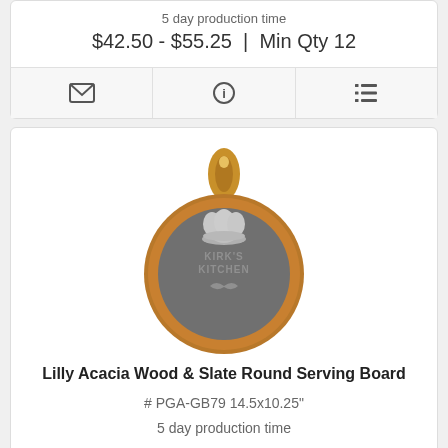5 day production time
$42.50 - $55.25 | Min Qty 12
[Figure (infographic): Icon bar with email envelope icon, info circle icon, and list/menu icon]
[Figure (photo): Lilly Acacia Wood & Slate Round Serving Board — round slate board with wooden handle and acacia wood rim, engraved with chef hat and text KIRK'S KITCHEN with mustache icon]
Lilly Acacia Wood & Slate Round Serving Board
# PGA-GB79 14.5x10.25"
5 day production time
$51.25 - $66.50 | Min Qty 12
[Figure (infographic): Icon bar with email envelope icon, info circle icon, and list/menu icon]